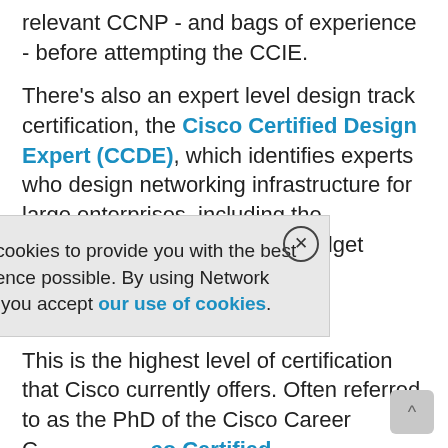relevant CCNP - and bags of experience - before attempting the CCIE.
There's also an expert level design track certification, the Cisco Certified Design Expert (CCDE), which identifies experts who design networking infrastructure for large enterprises, including the operational businesses and budget facets of a project.
Architect level
This is the highest level of certification that Cisco currently offers. Often referred to as the PhD of the Cisco Career C… Cisco Certified Architect (Cc… a center architects. As … Cisco's design track.
Achieving a C…
There's a wea… and resources ava… help
[Figure (other): Cookie consent popup overlay: 'This site uses cookies to provide you with the best user experience possible. By using Network Computing, you accept our use of cookies.' with a close (X) button.]